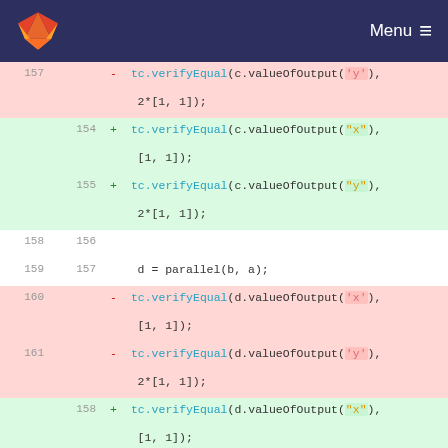Menu
[Figure (screenshot): GitLab code diff view showing MATLAB test code. Deleted lines (red background) show old verifyEqual calls with single-quoted strings for 'x' and 'y'. Added lines (green background) show new verifyEqual calls with double-quoted strings for "x" and "y". Lines 157-165 (old) and 154-163 (new) are shown, including d = parallel(b, a); and end % testGainParallel() statements.]